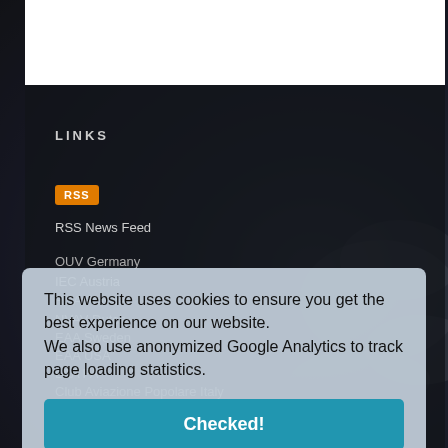LINKS
[Figure (logo): RSS orange badge/button]
RSS News Feed
OUV Germany
IEC Austria
RSA France
NVAV Dutch
EAA Sweden
EAA USA
LAA FA
Club Aviazione Popolare Italy
FAI Experimental
This website uses cookies to ensure you get the best experience on our website. We also use anonymized Google Analytics to track page loading statistics.
Checked!
EFLEVA